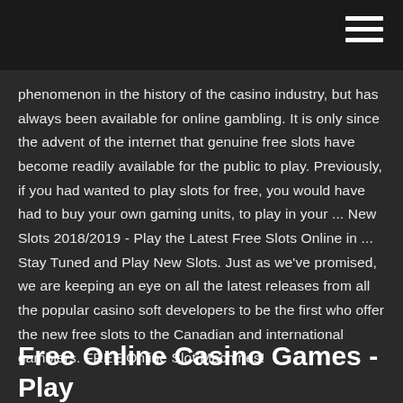phenomenon in the history of the casino industry, but has always been available for online gambling. It is only since the advent of the internet that genuine free slots have become readily available for the public to play. Previously, if you had wanted to play slots for free, you would have had to buy your own gaming units, to play in your ... New Slots 2018/2019 - Play the Latest Free Slots Online in ... Stay Tuned and Play New Slots. Just as we've promised, we are keeping an eye on all the latest releases from all the popular casino soft developers to be the first who offer the new free slots to the Canadian and international gamblers. FREE Online Slot Machines!
Free Online Casino Games - Play